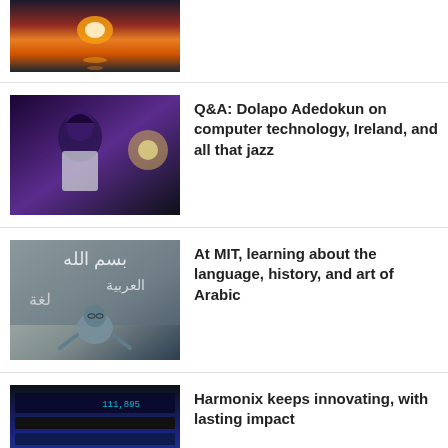[Figure (photo): Sunset over water with reflection]
[Figure (photo): Person at jazz performance under purple stage lighting]
Q&A: Dolapo Adedokun on computer technology, Ireland, and all that jazz
[Figure (photo): Professor gesturing in front of Arabic calligraphy on chalkboard]
At MIT, learning about the language, history, and art of Arabic
[Figure (photo): Harmonix game interface screenshot]
Harmonix keeps innovating, with lasting impact